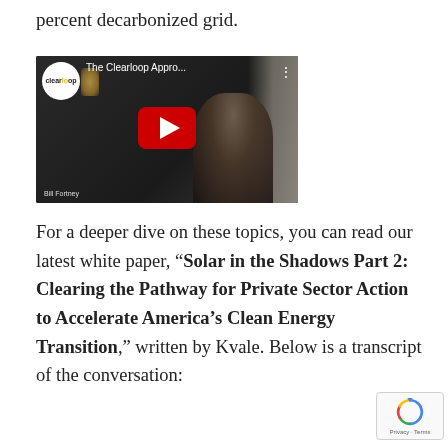percent decarbonized grid.
[Figure (screenshot): YouTube video thumbnail showing a man in a dark sweater in a home office setting. The Clearloop logo (white circle with 'clearloop' text) is in the top-left. The video title reads 'The Clearloop Appro...' The red YouTube play button is centered. A name label 'Bill Fortney' appears at the bottom-left.]
For a deeper dive on these topics, you can read our latest white paper, “Solar in the Shadows Part 2: Clearing the Pathway for Private Sector Action to Accelerate America’s Clean Energy Transition,” written by Kvale. Below is a transcript of the conversation: